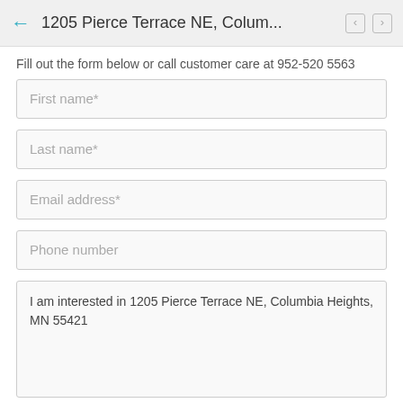1205 Pierce Terrace NE, Colum...
Fill out the form below or call customer care at 952-520 5563
First name*
Last name*
Email address*
Phone number
I am interested in 1205 Pierce Terrace NE, Columbia Heights, MN 55421